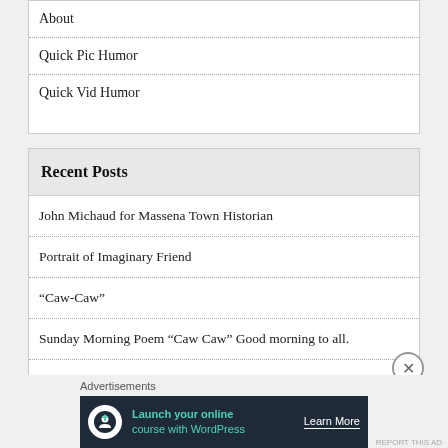About
Quick Pic Humor
Quick Vid Humor
Recent Posts
John Michaud for Massena Town Historian
Portrait of Imaginary Friend
“Caw-Caw”
Sunday Morning Poem “Caw Caw” Good morning to all.
Did you wash it?
Advertisements
[Figure (infographic): Advertisement banner: dark navy background with circular white icon showing a person with upload arrow, teal text 'Launch your online course with WordPress', white 'Learn More' button text]